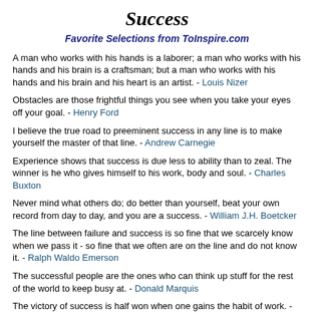Success
Favorite Selections from ToInspire.com
A man who works with his hands is a laborer; a man who works with his hands and his brain is a craftsman; but a man who works with his hands and his brain and his heart is an artist. - Louis Nizer
Obstacles are those frightful things you see when you take your eyes off your goal. - Henry Ford
I believe the true road to preeminent success in any line is to make yourself the master of that line. - Andrew Carnegie
Experience shows that success is due less to ability than to zeal. The winner is he who gives himself to his work, body and soul. - Charles Buxton
Never mind what others do; do better than yourself, beat your own record from day to day, and you are a success. - William J.H. Boetcker
The line between failure and success is so fine that we scarcely know when we pass it - so fine that we often are on the line and do not know it. - Ralph Waldo Emerson
The successful people are the ones who can think up stuff for the rest of the world to keep busy at. - Donald Marquis
The victory of success is half won when one gains the habit of work. - Sarah Bolton
The toughest thing about success is that you've got to keep on being a success. Talent is only a starting point in business. You've got to keep working that talent. - Irving Berlin
We succeed only as we identify in life, or in war, or in anything else, a single overriding objective, and make all other considerations bend to that one objective. - Dwight D. Eisenhower
If there is any great secret of success in life, it lies in the ability to put yourself in the other person's place and to see things from his point of view – as well as your own. - Henry Ford
People rarely succeed unless they have fun in what they are doing. - Dale Carnegie
Why not go out on a limb? Isn't that where the fruit is? - Frank Scully
Many of life's failures are people who did not realize how close they were to success when they